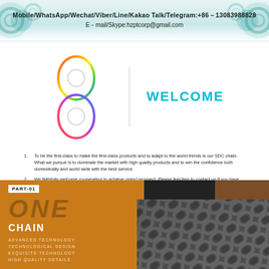Mobile/WhatsApp/Wechat/Viber/Line/Kakao Talk/Telegram:+86-13083988828
E-mail/Skype:hzptcorp@gmail.com
[Figure (logo): Colorful figure-8 shaped chain link logo with rainbow gradient outline, two circular holes, vertical divider line, and WELCOME text in cyan]
To be the first-class to make the first-class products and to adapt to the world trends is our SDC chain. What we pursue is to dominate the market with high quality products and to win the confidence both domestically and world wide with the best service.
We faithfully welcome cooperation to achieve grand prospect. Please feel free to contact us if you have some demand in our products or you want to know more detailed information about our company and our products.
[Figure (photo): Bottom promotional section: orange panel with PART-01 badge, large faded ONE text, CHAIN heading, technology feature lines (ADVANCED TECHNOLOGY, TECHNOLOGICAL DESIGN, EXQUISITE TECHNOLOGY, HIGH QUALITY DETAILS) on orange background; right side shows a close-up photo of industrial roller chain on dark background]